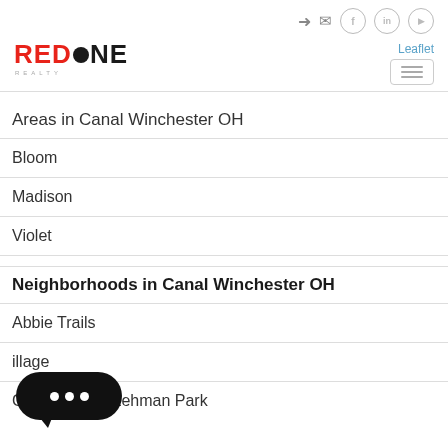RedOne Realty header with navigation icons
[Figure (logo): RedOne Realty logo with red and black text and black circle replacing letter O]
Areas in Canal Winchester OH
Bloom
Madison
Violet
Neighborhoods in Canal Winchester OH
Abbie Trails
...illage
Courtyards at Lehman Park